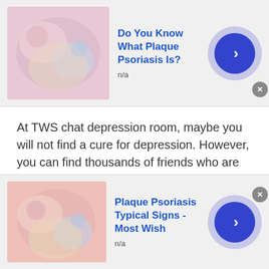[Figure (photo): Advertisement banner for plaque psoriasis with skin image on left, title text, and blue arrow button on right]
Do You Know What Plaque Psoriasis Is?
n/a
At TWS chat depression room, maybe you will not find a cure for depression. However, you can find thousands of friends who are ready to listen to your woes without any judgment. TWS assures to help depressed folks no matter whatever the circumstances. So, talk to strangers in Rwanda on TWS and get ultimate guidance or support within no time. TWS always takes care of your mental health. So, what would you prefer: free online therapy or
[Figure (photo): Advertisement banner for Plaque Psoriasis Typical Signs with skin image on left, title text, and blue arrow button on right]
Plaque Psoriasis Typical Signs - Most Wish
n/a